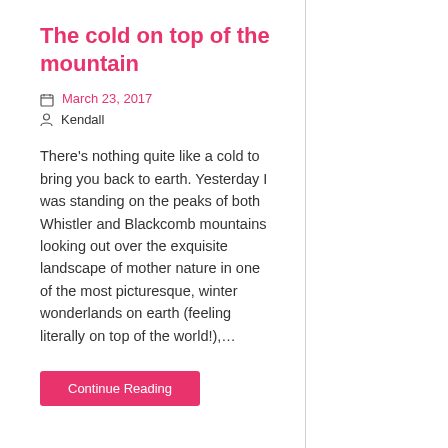The cold on top of the mountain
March 23, 2017
Kendall
There's nothing quite like a cold to bring you back to earth. Yesterday I was standing on the peaks of both Whistler and Blackcomb mountains looking out over the exquisite landscape of mother nature in one of the most picturesque, winter wonderlands on earth (feeling literally on top of the world!),…
Continue Reading